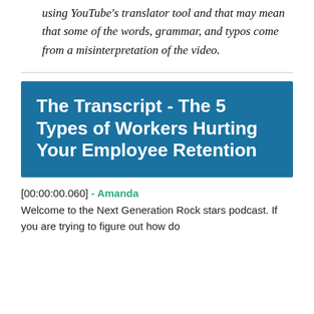using YouTube's translator tool and that may mean that some of the words, grammar, and typos come from a misinterpretation of the video.
The Transcript - The 5 Types of Workers Hurting Your Employee Retention
[00:00:00.060] - Amanda
Welcome to the Next Generation Rock stars podcast. If you are trying to figure out how do